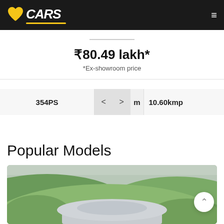BCARS
₹80.49 lakh*
*Ex-showroom price
354PS   < > m   10.60kmp
Popular Models
[Figure (photo): Partial view of a car on a green hilly landscape with misty background]